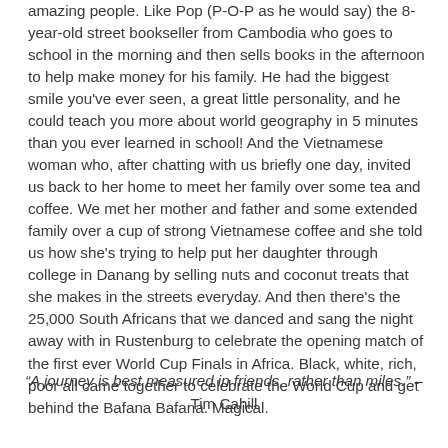amazing people. Like Pop (P-O-P as he would say) the 8-year-old street bookseller from Cambodia who goes to school in the morning and then sells books in the afternoon to help make money for his family. He had the biggest smile you've ever seen, a great little personality, and he could teach you more about world geography in 5 minutes than you ever learned in school! And the Vietnamese woman who, after chatting with us briefly one day, invited us back to her home to meet her family over some tea and coffee. We met her mother and father and some extended family over a cup of strong Vietnamese coffee and she told us how she's trying to help put her daughter through college in Danang by selling nuts and coconut treats that she makes in the streets everyday. And then there's the 25,000 South Africans that we danced and sang the night away with in Rustenburg to celebrate the opening match of the first ever World Cup Finals in Africa. Black, white, rich, poor all came together to celebrate the World Cup and get behind the Bafana Bafana. Magical.
“A journey is best measured in friends, rather than miles.” – Tim Cahill